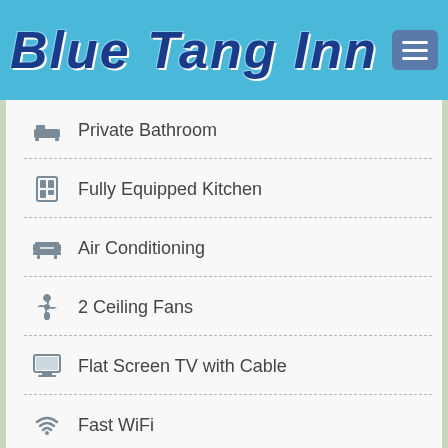Blue Tang Inn
Private Bathroom
Fully Equipped Kitchen
Air Conditioning
2 Ceiling Fans
Flat Screen TV with Cable
Fast WiFi
Continental Breakfast Daily
Shared Balcony